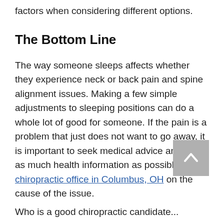factors when considering different options.
The Bottom Line
The way someone sleeps affects whether they experience neck or back pain and spine alignment issues. Making a few simple adjustments to sleeping positions can do a whole lot of good for someone. If the pain is a problem that just does not want to go away, it is important to seek medical advice and gain as much health information as possible from a chiropractic office in Columbus, OH on the cause of the issue.
Who is a good chiropractic candidate...